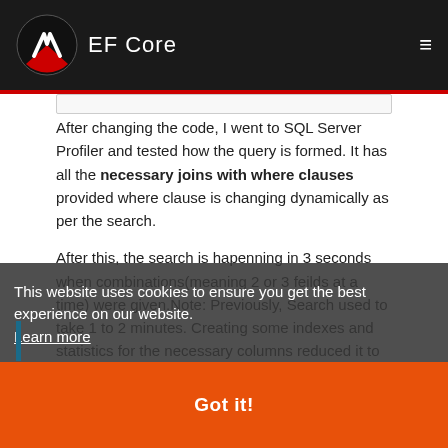EF Core
After changing the code, I went to SQL Server Profiler and tested how the query is formed. It has all the necessary joins with where clauses provided where clause is changing dynamically as per the search.
After this, the search is hapenning in 3 seconds when combinations(meaning 2 or 3 feilds at a time) were given.Note: Previously, Search used to take 1 to 2 minutes. Creating some indexes and statistics for the necessary columns reduced it to less than 1 second.
LOKI
This website uses cookies to ensure you get the best experience on our website. Learn more
Got it!